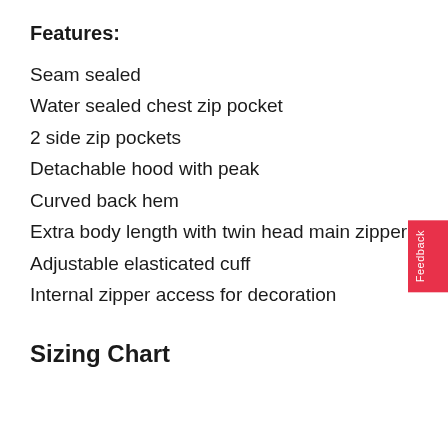Features:
Seam sealed
Water sealed chest zip pocket
2 side zip pockets
Detachable hood with peak
Curved back hem
Extra body length with twin head main zipper
Adjustable elasticated cuff
Internal zipper access for decoration
Sizing Chart